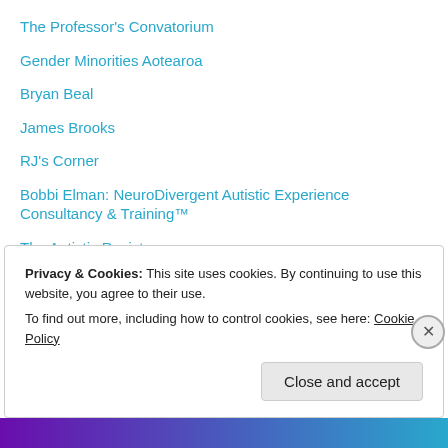The Professor's Convatorium
Gender Minorities Aotearoa
Bryan Beal
James Brooks
RJ's Corner
Bobbi Elman: NeuroDivergent Autistic Experience Consultancy & Training™
The Autistic Resistance
schmaltalk
Sarah Boon
Clare Flourish
Nik Dirga
Privacy & Cookies: This site uses cookies. By continuing to use this website, you agree to their use.
To find out more, including how to control cookies, see here: Cookie Policy
Close and accept